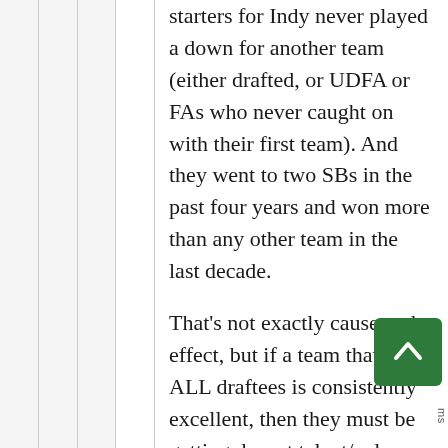starters for Indy never played a down for another team (either drafted, or UDFA or FAs who never caught on with their first team). And they went to two SBs in the past four years and won more than any other team in the last decade.
That's not exactly cause and effect, but if a team that is ALL draftees is consistently excellent, then they must be getting decent talent/value out of the draft.
Yes, staff stability helps tons, as does having Manning at QB. But Manning didn't make strip sacks